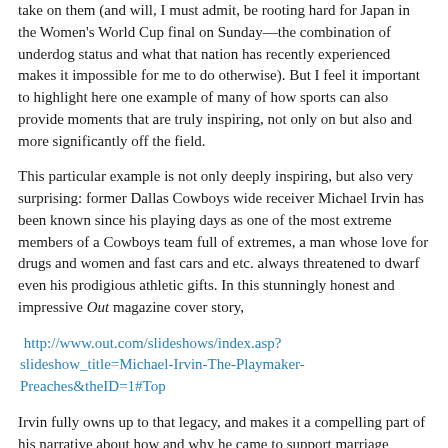take on them (and will, I must admit, be rooting hard for Japan in the Women's World Cup final on Sunday—the combination of underdog status and what that nation has recently experienced makes it impossible for me to do otherwise). But I feel it important to highlight here one example of many of how sports can also provide moments that are truly inspiring, not only on but also and more significantly off the field.
This particular example is not only deeply inspiring, but also very surprising: former Dallas Cowboys wide receiver Michael Irvin has been known since his playing days as one of the most extreme members of a Cowboys team full of extremes, a man whose love for drugs and women and fast cars and etc. always threatened to dwarf even his prodigious athletic gifts. In this stunningly honest and impressive Out magazine cover story,
http://www.out.com/slideshows/index.asp?slideshow_title=Michael-Irvin-The-Playmaker-Preaches&theID=1#Top
Irvin fully owns up to that legacy, and makes it a compelling part of his narrative about how and why he came to support marriage equality (the story's explicit focus). But even more compelling and impressive than that, and even more moving and powerful than his love and respect for his late brother, is Irvin's worry about a conversation he might have at the pearly gates: